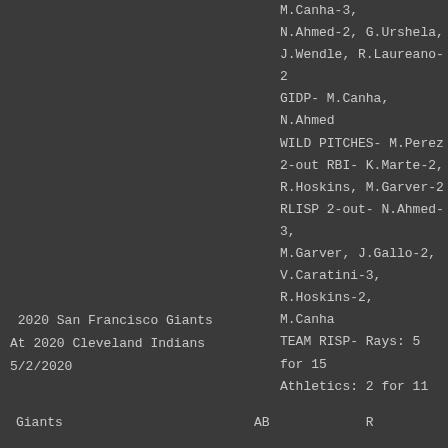M.Canha-3, N.Ahmed-2, G.Urshela, J.Wendle, R.Laureano-2 GIDP- M.Canha, N.Ahmed WILD PITCHES- M.Perez 2-out RBI- K.Marte-2, R.Hoskins, M.Garver-2 RLISP 2-out- N.Ahmed-3, M.Garver, J.Gallo-2, V.Caratini-3, R.Hoskins-2, M.Canha TEAM RISP- Rays: 5 for 15 Athletics: 2 for 11
2020 San Francisco Giants At 2020 Cleveland Indians 5/2/2020
| Giants | AB | R |
| --- | --- | --- |